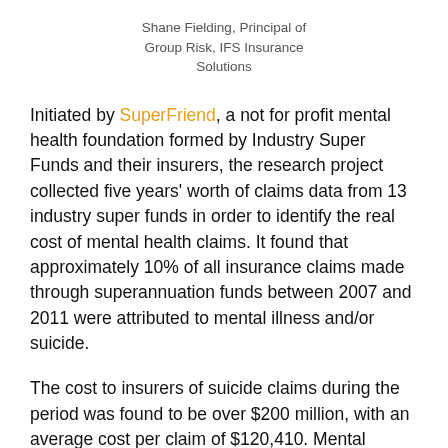Shane Fielding, Principal of Group Risk, IFS Insurance Solutions
Initiated by SuperFriend, a not for profit mental health foundation formed by Industry Super Funds and their insurers, the research project collected five years' worth of claims data from 13 industry super funds in order to identify the real cost of mental health claims. It found that approximately 10% of all insurance claims made through superannuation funds between 2007 and 2011 were attributed to mental illness and/or suicide.
The cost to insurers of suicide claims during the period was found to be over $200 million, with an average cost per claim of $120,410. Mental illness-related TPD claims cost $147.9 million, equating to an average of $82,960 per claim.
Further, suicide accounted for nearly 26% of all male